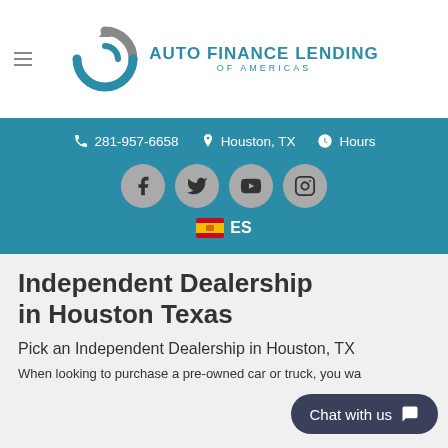[Figure (logo): Auto Finance Lending of Americas logo with circular arrow icon in teal/gray and bold teal text]
281-957-6658   Houston, TX   Hours
[Figure (infographic): Social media icons row: Facebook, Twitter, YouTube, Instagram in gray circles]
🇪🇸 ES
Independent Dealership in Houston Texas
Pick an Independent Dealership in Houston, TX
When looking to purchase a pre-owned car or truck, you wa